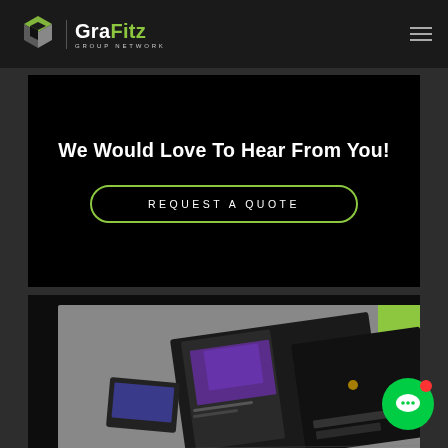[Figure (logo): GraFitz Group Network logo with white geometric G icon and text]
We Would Love To Hear From You!
REQUEST A QUOTE
[Figure (photo): Portfolio/brochure mockup showing website design materials on a desk surface]